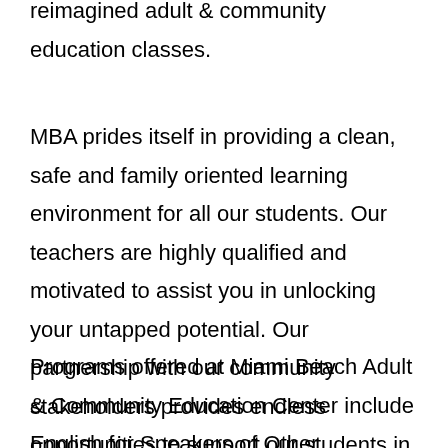reimagined adult & community education classes.
MBA prides itself in providing a clean, safe and family oriented learning environment for all our students. Our teachers are highly qualified and motivated to assist you in unlocking your untapped potential. Our partnership with our community stakeholders provides endless opportunities to support our students in achieving their goals.
Programs offered at Miami Beach Adult & Community Education Center include English for Speakers of Other Languages (ESOL), Integrated Education & Training (I.E.T),Adult High School completion, Credit Recovery for current high school